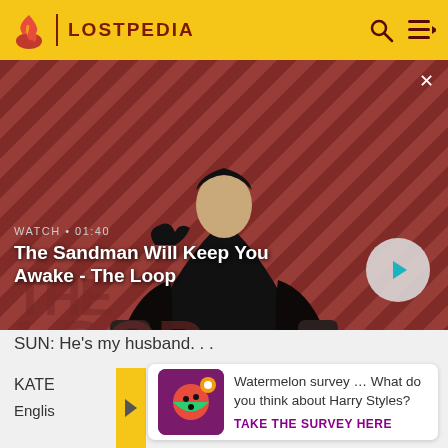LOSTPEDIA
[Figure (screenshot): Video thumbnail showing a dark-cloaked figure with a raven on shoulder against a red striped background. Text overlay: WATCH • 01:40, The Sandman Will Keep You Awake - The Loop. Play button visible bottom right.]
SUN: He's my husband. . .
KATE
Englis
[Figure (illustration): Survey advertisement card with purple icon showing watermelon/fruit imagery]
Watermelon survey … What do you think about Harry Styles?
TAKE THE SURVEY HERE